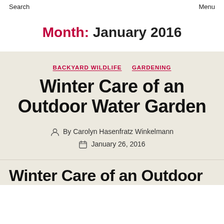Search   Menu
Month: January 2016
BACKYARD WILDLIFE   GARDENING
Winter Care of an Outdoor Water Garden
By Carolyn Hasenfratz Winkelmann
January 26, 2016
Winter Care of an Outdoor